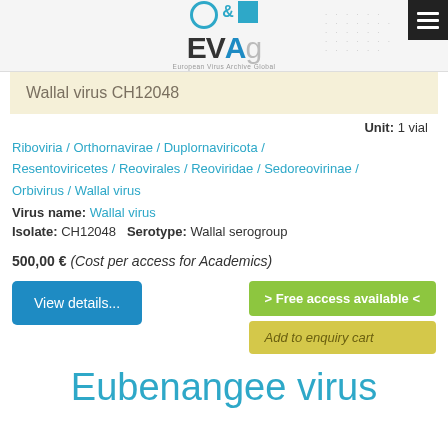EVAg — European Virus Archive Global
Wallal virus CH12048
Unit: 1 vial
Riboviria / Orthornavirae / Duplornaviricota / Resentoviricetes / Reovirales / Reoviridae / Sedoreovirinae / Orbivirus / Wallal virus
Virus name: Wallal virus
Isolate: CH12048  Serotype: Wallal serogroup
500,00 € (Cost per access for Academics)
View details...
> Free access available <
Add to enquiry cart
Eubenangee virus